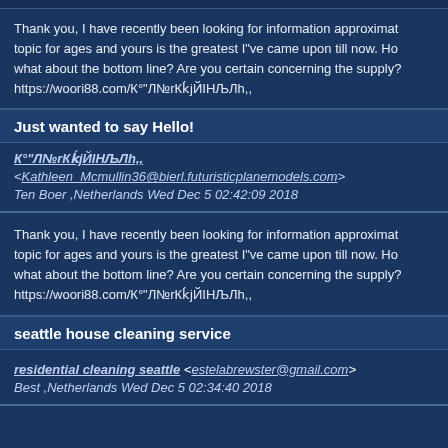Thank you, I have recently been looking for information approximately topic for ages and yours is the greatest I"ve came upon till now. However, what about the bottom line? Are you certain concerning the supply? https://woori88.com/К°"Л№rКkjЙІНЉЛh,,
Just wanted to say Hello!
К°"Л№rКkjЙІНЉЛh,, <Kathleen_Mcmullin36@bierl.futuristicplanemodels.com> Ten Boer ,Netherlands Wed Dec 5 02:42:09 2018
Thank you, I have recently been looking for information approximately topic for ages and yours is the greatest I"ve came upon till now. However, what about the bottom line? Are you certain concerning the supply? https://woori88.com/К°"Л№rКkjЙІНЉЛh,,
seattle house cleaning service
residential cleaning seattle <estelabrewster@gmail.com> Best ,Netherlands Wed Dec 5 02:34:40 2018